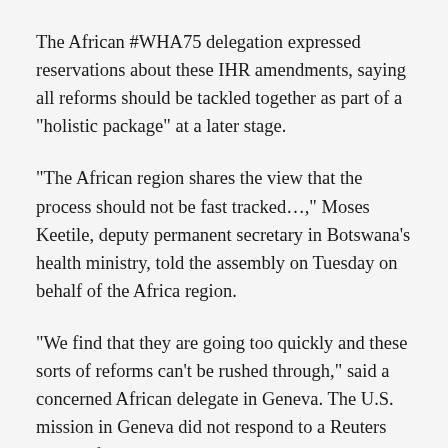The African #WHA75 delegation expressed reservations about these IHR amendments, saying all reforms should be tackled together as part of a "holistic package" at a later stage.
"The African region shares the view that the process should not be fast tracked…," Moses Keetile, deputy permanent secretary in Botswana's health ministry, told the assembly on Tuesday on behalf of the Africa region.
"We find that they are going too quickly and these sorts of reforms can't be rushed through," said a concerned African delegate in Geneva. The U.S. mission in Geneva did not respond to a Reuters request for comment.
BRIMI emerges: Brazil, Russia, Iran,